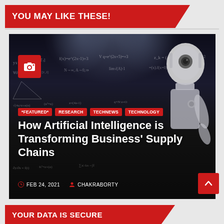YOU MAY LIKE THESE!
[Figure (photo): A humanoid robot with white metallic body stands in front of a dark blackboard covered with mathematical equations and formulas, lit by spotlights from above. A red camera icon badge is visible in the upper-left corner.]
*FEATURED*   RESEARCH   TECHNEWS   TECHNOLOGY
How Artificial Intelligence is Transforming Business' Supply Chains
FEB 24, 2021   CHAKRABORTY
YOUR DATA IS SECURE